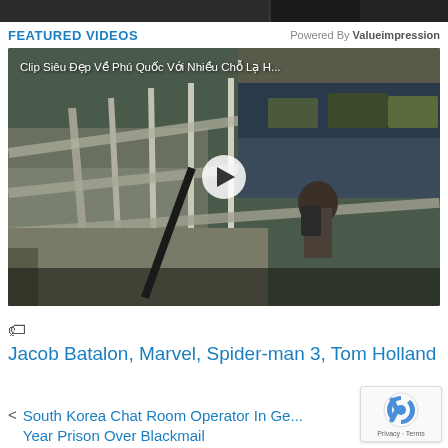[Figure (screenshot): Top banner with dark background showing partial image content]
FEATURED VIDEOS
Powered By Valueimpression
[Figure (photo): Video thumbnail showing a person with backpack on a bridge railing with boats in a harbor in the background. Title overlay reads: Clip Siêu Đẹp Về Phú Quốc Với Nhiều Chỗ Lạ H...]
Jacob Batalon, Marvel, Spider-man 3, Tom Holland
South Korea Chat Room Operator In Ge... Year Prison Over Blackmail